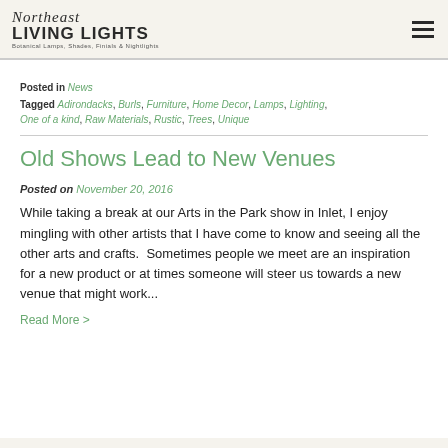Northeast Living Lights — Botanical Lamps, Shades, Finials & Nightlights
Posted in News
Tagged Adirondacks, Burls, Furniture, Home Decor, Lamps, Lighting, One of a kind, Raw Materials, Rustic, Trees, Unique
Old Shows Lead to New Venues
Posted on November 20, 2016
While taking a break at our Arts in the Park show in Inlet, I enjoy mingling with other artists that I have come to know and seeing all the other arts and crafts.  Sometimes people we meet are an inspiration for a new product or at times someone will steer us towards a new venue that might work...
Read More >